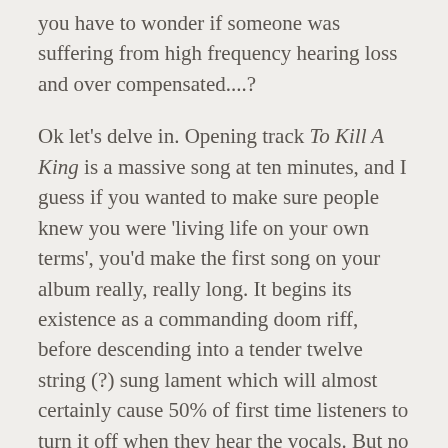you have to wonder if someone was suffering from high frequency hearing loss and over compensated....?
Ok let's delve in. Opening track To Kill A King is a massive song at ten minutes, and I guess if you wanted to make sure people knew you were 'living life on your own terms', you'd make the first song on your album really, really long. It begins its existence as a commanding doom riff, before descending into a tender twelve string (?) sung lament which will almost certainly cause 50% of first time listeners to turn it off when they hear the vocals. But no – you are still here, right? Good. Then, the doom part starts up again, followed by more tenderness, and then a marching